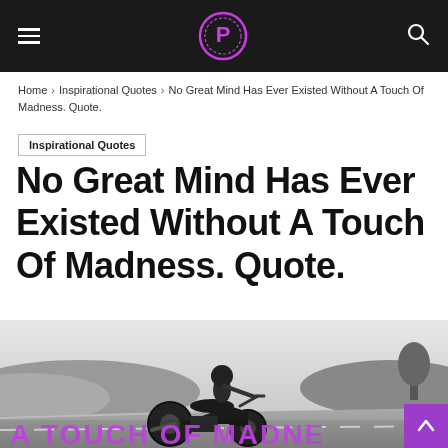Navigation header with hamburger menu, P logo, and search icon
Home › Inspirational Quotes › No Great Mind Has Ever Existed Without A Touch Of Madness. Quote.
Inspirational Quotes
No Great Mind Has Ever Existed Without A Touch Of Madness. Quote.
[Figure (photo): Black and white photo of a motorcyclist riding on a highway with hills and trees in background, with large purple text overlay at the bottom reading 'A TOUCH OF MADNESS']